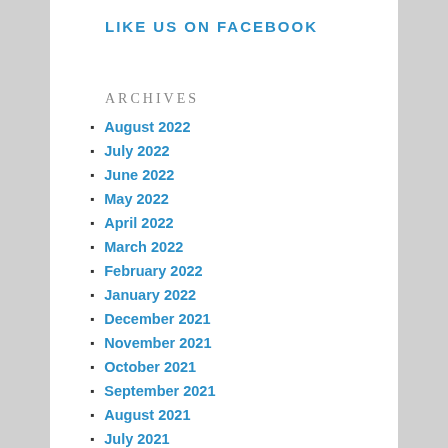LIKE US ON FACEBOOK
ARCHIVES
August 2022
July 2022
June 2022
May 2022
April 2022
March 2022
February 2022
January 2022
December 2021
November 2021
October 2021
September 2021
August 2021
July 2021
June 2021
May 2021